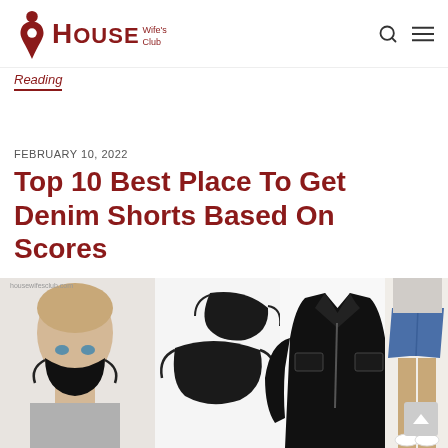House Wife's Club
Reading
FEBRUARY 10, 2022
Top 10 Best Place To Get Denim Shorts Based On Scores
[Figure (photo): Feature image collage showing a woman wearing a black face mask, black face masks, a black leather jacket, and denim shorts on a model with white sneakers. Watermark reads housewifesclub.com]